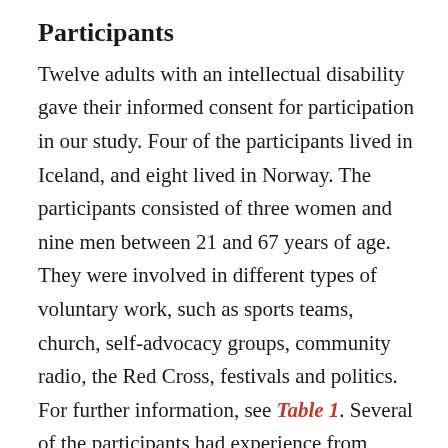Participants
Twelve adults with an intellectual disability gave their informed consent for participation in our study. Four of the participants lived in Iceland, and eight lived in Norway. The participants consisted of three women and nine men between 21 and 67 years of age. They were involved in different types of voluntary work, such as sports teams, church, self-advocacy groups, community radio, the Red Cross, festivals and politics. For further information, see Table 1. Several of the participants had experience from different kinds of voluntary work. Of the Icelandic participants, two had a daytime job in the regular labour market and two were working in a segregated setting. Of the Norwegian participants, three were working in the regular labour